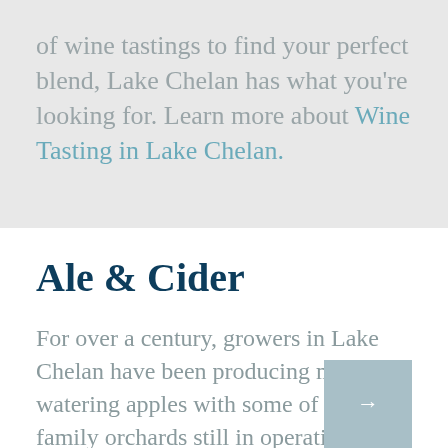of wine tastings to find your perfect blend, Lake Chelan has what you're looking for. Learn more about Wine Tasting in Lake Chelan.
Ale & Cider
For over a century, growers in Lake Chelan have been producing mouth-watering apples with some of the same family orchards still in operation